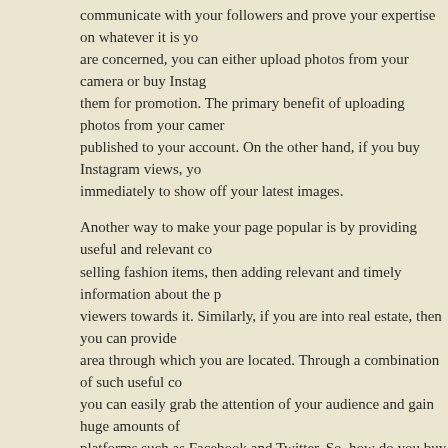communicate with your followers and prove your expertise on whatever it is you are concerned, you can either upload photos from your camera or buy Instagram them for promotion. The primary benefit of uploading photos from your camera is published to your account. On the other hand, if you buy Instagram views, you immediately to show off your latest images.
Another way to make your page popular is by providing useful and relevant content, selling fashion items, then adding relevant and timely information about the products viewers towards it. Similarly, if you are into real estate, then you can provide value area through which you are located. Through a combination of such useful content, you can easily grab the attention of your audience and gain huge amounts of platforms such as Facebook and Twitter. So, how do you buy Instagram video
You need to buy Instagram video views from an authentic source so that you promote your products and services. There are numerous ways through which you can Instagram views for promotion. One of them is by hiring an effective SEO agency. Search optimization agencies offer services that include buying followers in bulk, having offering free and quick delivery.
Apart from these, you can also purchase cheap Instagram views by paying the cost. For this, you can also get a hold of cheap views by joining Instagram groups. The social media platforms is that they allow users to upload images and videos of their